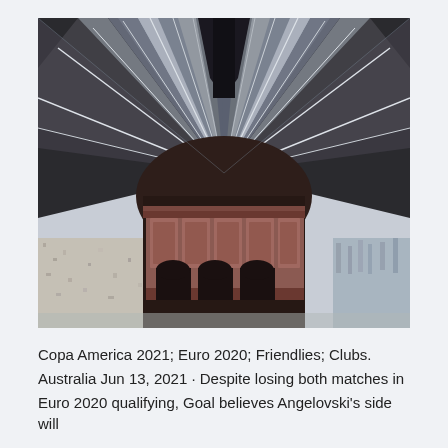[Figure (photo): Interior photograph of a large Victorian-era train station or market hall showing a dramatic arched ribbed roof structure with radiating iron/steel beams converging at a central arch, with a decorative ornate entrance facade featuring arched openings and panelled decoration in dark reddish-brown tones. The perspective looks upward toward the ceiling.]
Copa America 2021; Euro 2020; Friendlies; Clubs. Australia Jun 13, 2021 · Despite losing both matches in Euro 2020 qualifying, Goal believes Angelovski's side will